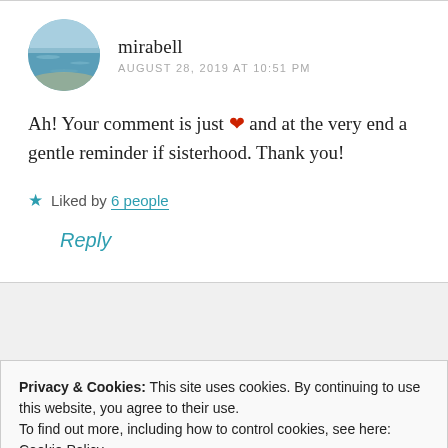mirabell
AUGUST 28, 2019 AT 10:51 PM
Ah! Your comment is just ❤ and at the very end a gentle reminder if sisterhood. Thank you!
★ Liked by 6 people
Reply
Privacy & Cookies: This site uses cookies. By continuing to use this website, you agree to their use.
To find out more, including how to control cookies, see here: Cookie Policy
Close and accept
Absolutely … no need for apologies .